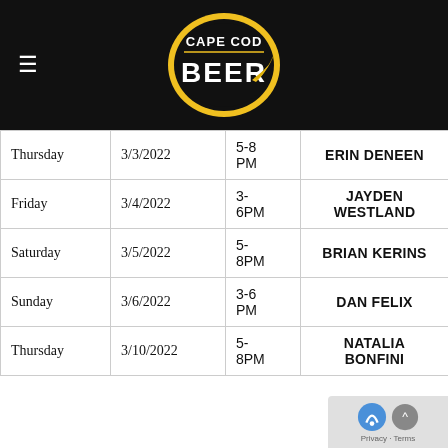Cape Cod Beer
| Day | Date | Time | Performer |
| --- | --- | --- | --- |
| Thursday | 3/3/2022 | 5-8 PM | ERIN DENEEN |
| Friday | 3/4/2022 | 3-6PM | JAYDEN WESTLAND |
| Saturday | 3/5/2022 | 5-8PM | BRIAN KERINS |
| Sunday | 3/6/2022 | 3-6 PM | DAN FELIX |
| Thursday | 3/10/2022 | 5-8PM | NATALIA BONFINI |